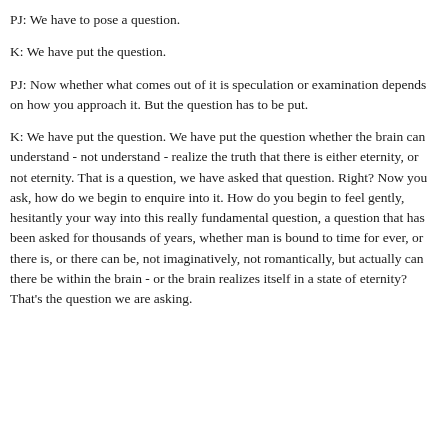PJ: We have to pose a question.
K: We have put the question.
PJ: Now whether what comes out of it is speculation or examination depends on how you approach it. But the question has to be put.
K: We have put the question. We have put the question whether the brain can understand - not understand - realize the truth that there is either eternity, or not eternity. That is a question, we have asked that question. Right? Now you ask, how do we begin to enquire into it. How do you begin to feel gently, hesitantly your way into this really fundamental question, a question that has been asked for thousands of years, whether man is bound to time for ever, or there is, or there can be, not imaginatively, not romantically, but actually can there be within the brain - or the brain realizes itself in a state of eternity? That's the question we are asking.